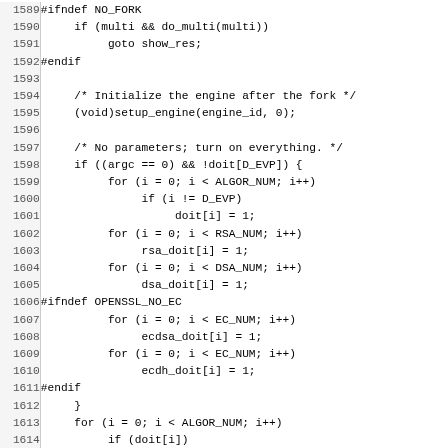[Figure (screenshot): Source code listing in monospace font showing C code lines 1589-1620, with line numbers on the left and code on the right. The code contains preprocessor directives (#ifndef NO_FORK, #endif, #ifndef OPENSSL_NO_EC), function calls, and for loops related to cryptographic benchmarking.]